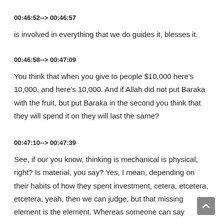00:46:52--> 00:46:57
is involved in everything that we do guides it, blesses it.
00:46:58--> 00:47:09
You think that when you give to people $10,000 here's 10,000, and here's 10,000. And if Allah did not put Baraka with the fruit, but put Baraka in the second you think that they will spend it on they will last the same?
00:47:10--> 00:47:39
See, if our you know, thinking is mechanical is physical, right? Is material, you say? Yes, I mean, depending on their habits of how they spent investment, cetera, etcetera, etcetera, yeah, then we can judge, but that missing element is the element. Whereas someone can say